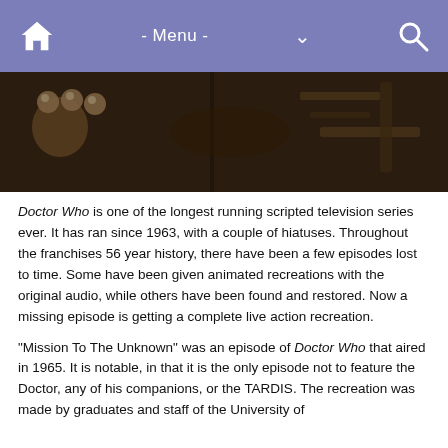- Menu -
[Figure (photo): Dark sci-fi image showing metallic/futuristic objects, likely from the Doctor Who TV series set, with spherical elements and machinery visible against a dark background.]
Doctor Who is one of the longest running scripted television series ever. It has ran since 1963, with a couple of hiatuses. Throughout the franchises 56 year history, there have been a few episodes lost to time. Some have been given animated recreations with the original audio, while others have been found and restored. Now a missing episode is getting a complete live action recreation.
"Mission To The Unknown" was an episode of Doctor Who that aired in 1965. It is notable, in that it is the only episode not to feature the Doctor, any of his companions, or the TARDIS. The recreation was made by graduates and staff of the University of